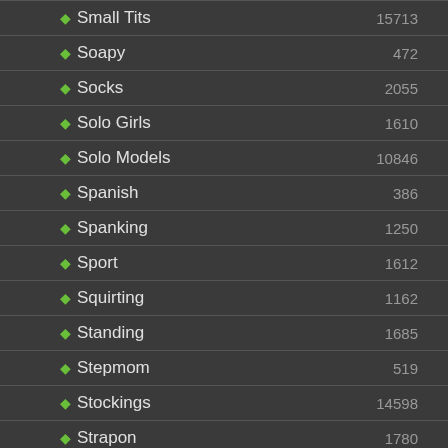Small Tits 15713
Soapy 472
Socks 2055
Solo Girls 1610
Solo Models 10846
Spanish 386
Spanking 1250
Sport 1612
Squirting 1162
Standing 1685
Stepmom 519
Stockings 14598
Strapon 1780
Striptease 1220